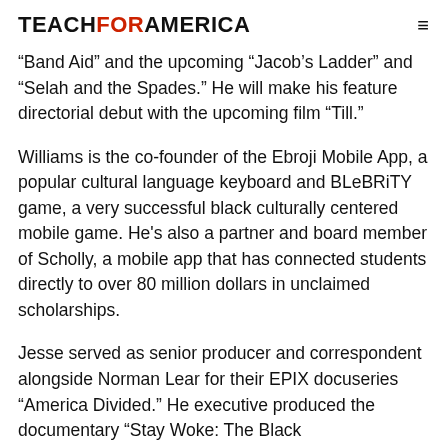TEACHFORAMERICA
“Band Aid” and the upcoming “Jacob’s Ladder” and “Selah and the Spades.” He will make his feature directorial debut with the upcoming film “Till.”
Williams is the co-founder of the Ebroji Mobile App, a popular cultural language keyboard and BLeBRiTY game, a very successful black culturally centered mobile game. He's also a partner and board member of Scholly, a mobile app that has connected students directly to over 80 million dollars in unclaimed scholarships.
Jesse served as senior producer and correspondent alongside Norman Lear for their EPIX docuseries “America Divided.” He executive produced the documentary “Stay Woke: The Black